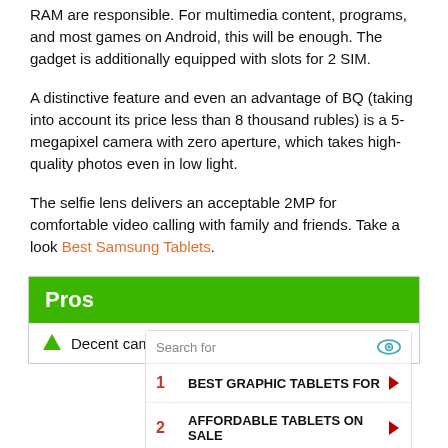RAM are responsible. For multimedia content, programs, and most games on Android, this will be enough. The gadget is additionally equipped with slots for 2 SIM.
A distinctive feature and even an advantage of BQ (taking into account its price less than 8 thousand rubles) is a 5-megapixel camera with zero aperture, which takes high-quality photos even in low light.
The selfie lens delivers an acceptable 2MP for comfortable video calling with family and friends. Take a look Best Samsung Tablets.
Pros
Decent cameras for this segment:
[Figure (screenshot): Advertisement overlay with search bar and two search results: 1. BEST GRAPHIC TABLETS FOR, 2. AFFORDABLE TABLETS ON SALE]